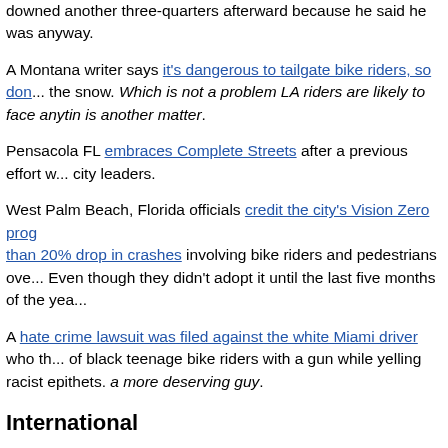downed another three-quarters afterward because he said he was anyway.
A Montana writer says it's dangerous to tailgate bike riders, so don't... the snow. Which is not a problem LA riders are likely to face anytime soon, but rain is another matter.
Pensacola FL embraces Complete Streets after a previous effort was blocked by city leaders.
West Palm Beach, Florida officials credit the city's Vision Zero program with more than 20% drop in crashes involving bike riders and pedestrians over the past year. Even though they didn't adopt it until the last five months of the year.
A hate crime lawsuit was filed against the white Miami driver who threatened a group of black teenage bike riders with a gun while yelling racist epithets. Hard to think of a more deserving guy.
International
Toronto votes to make a set of separated bike lanes permanent after reducing crashes involving bicyclists by a whopping 73% during the pilot period. Proof that bike lanes work, despite what the traffic safety deniers claim.